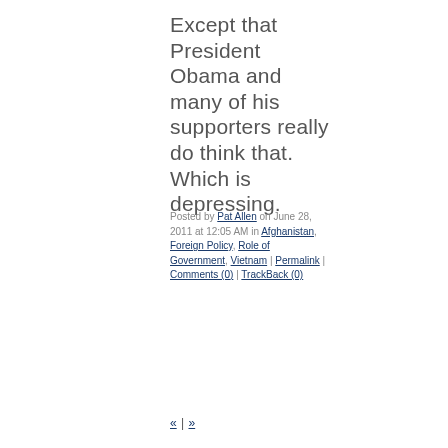Except that President Obama and many of his supporters really do think that. Which is depressing.
Posted by Pat Allen on June 28, 2011 at 12:05 AM in Afghanistan, Foreign Policy, Role of Government, Vietnam | Permalink | Comments (0) | TrackBack (0)
« | »